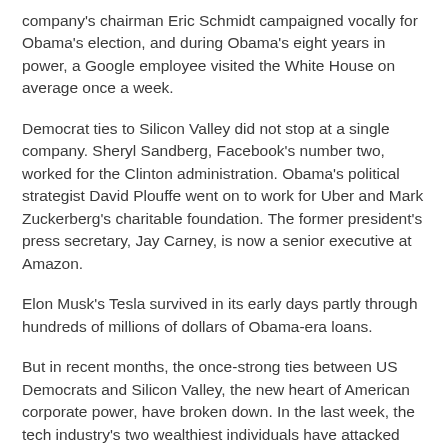company's chairman Eric Schmidt campaigned vocally for Obama's election, and during Obama's eight years in power, a Google employee visited the White House on average once a week.
Democrat ties to Silicon Valley did not stop at a single company. Sheryl Sandberg, Facebook's number two, worked for the Clinton administration. Obama's political strategist David Plouffe went on to work for Uber and Mark Zuckerberg's charitable foundation. The former president's press secretary, Jay Carney, is now a senior executive at Amazon.
Elon Musk's Tesla survived in its early days partly through hundreds of millions of dollars of Obama-era loans.
But in recent months, the once-strong ties between US Democrats and Silicon Valley, the new heart of American corporate power, have broken down. In the last week, the tech industry's two wealthiest individuals have attacked Joe Biden's party, while a growing number of senior figures have questioned the administration.